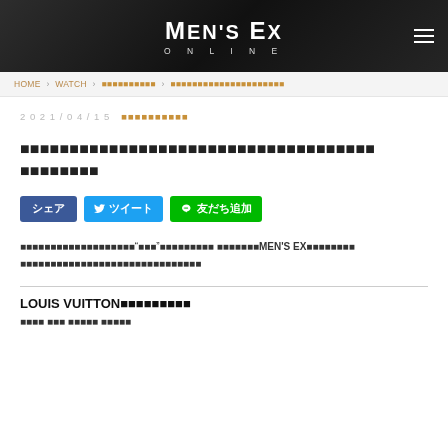MEN'S EX ONLINE
HOME > WATCH > ■■■■■■■■■■ > ■■■■■■■■■■■■■■■■■■■■■
2021/04/15  ■■■■■■■■■■
■■■■■■■■■■■■■■■■■■■■■■■■■■■■■■■■■■■■ ■■■■■■■■
シェア  ツイート  友だち追加
■■■■■■■■■■■■■■■■■■■"■■■"■■■■■■■■■ ■■■■■■■MEN'S EX■■■■■■■■■■■■■■■■■■■■■■■■■■■■■■■■■■
LOUIS VUITTON■■■■■■■■■
■■■■ ■■■ ■■■■■ ■■■■■